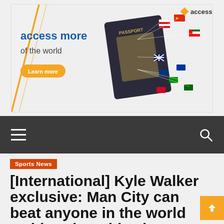[Figure (illustration): Access Bank advertisement banner: orange diagonal slash on left, bold blue text 'access more of the world', orange 'Learn more' button, passport with world map and country flags on right, Access logo top right]
[Figure (screenshot): Dark gray navigation bar with white hamburger menu icon on left and white search/magnifier icon on right]
Sports News
[International] Kyle Walker exclusive: Man City can beat anyone in the world as historic treble chance...